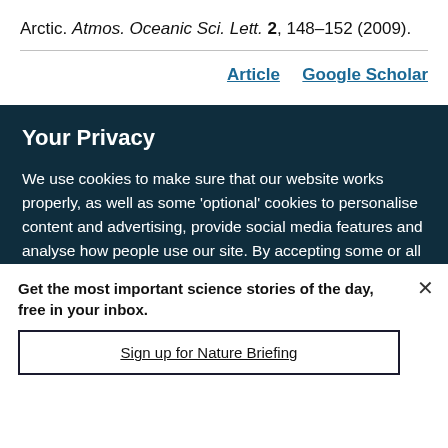Arctic. Atmos. Oceanic Sci. Lett. 2, 148–152 (2009).
Article   Google Scholar
Your Privacy
We use cookies to make sure that our website works properly, as well as some 'optional' cookies to personalise content and advertising, provide social media features and analyse how people use our site. By accepting some or all optional cookies you give consent to the processing of your personal data, including transfer to third parties, some in countries outside of the European Economic Area that do not offer the same data protection standards as the country where you live. You can decide which optional cookies to accept by clicking on 'Manage Settings', where you can
Get the most important science stories of the day, free in your inbox.
Sign up for Nature Briefing